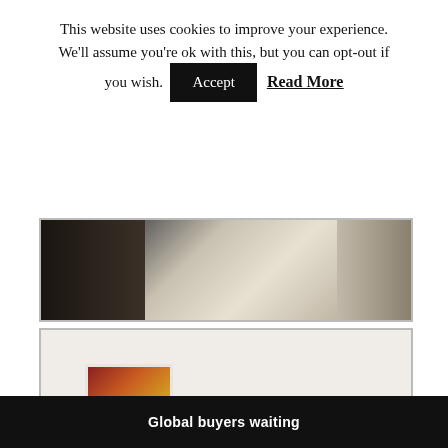This website uses cookies to improve your experience. We'll assume you're ok with this, but you can opt-out if you wish. Accept Read More
[Figure (photo): Partial view of a bedroom with dark furniture and white bedding]
[Figure (photo): Living room with gray sofa, colorful artwork on wall, TV on wooden stand, and view into kitchen area. Watermark reads FINE HOUSE International]
[Figure (photo): Partial view of interior ceiling/hallway area]
Global buyers waiting